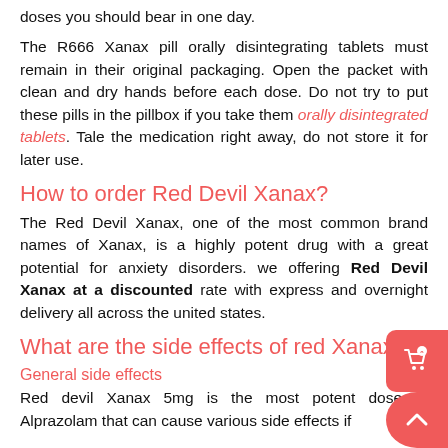doses you should bear in one day.
The R666 Xanax pill orally disintegrating tablets must remain in their original packaging. Open the packet with clean and dry hands before each dose. Do not try to put these pills in the pillbox if you take them orally disintegrated tablets. Tale the medication right away, do not store it for later use.
How to order Red Devil Xanax?
The Red Devil Xanax, one of the most common brand names of Xanax, is a highly potent drug with a great potential for anxiety disorders. we offering Red Devil Xanax at a discounted rate with express and overnight delivery all across the united states.
What are the side effects of red Xanax?
General side effects
Red devil Xanax 5mg is the most potent dose of Alprazolam that can cause various side effects if